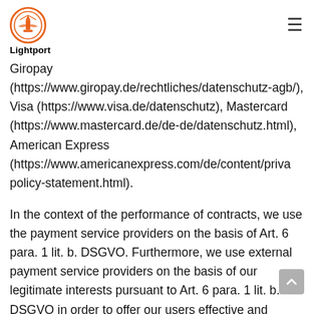Lightport
Giropay (https://www.giropay.de/rechtliches/datenschutz-agb/), Visa (https://www.visa.de/datenschutz), Mastercard (https://www.mastercard.de/de-de/datenschutz.html), American Express (https://www.americanexpress.com/de/content/privacy-policy-statement.html).
In the context of the performance of contracts, we use the payment service providers on the basis of Art. 6 para. 1 lit. b. DSGVO. Furthermore, we use external payment service providers on the basis of our legitimate interests pursuant to Art. 6 para. 1 lit. b. DSGVO in order to offer our users effective and